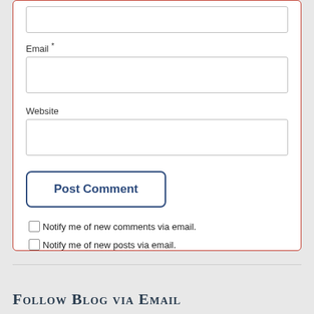Email *
Website
Post Comment
Notify me of new comments via email.
Notify me of new posts via email.
Follow Blog via Email